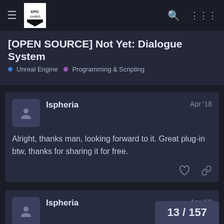Epic Games Forum Navigation Bar
[OPEN SOURCE] Not Yet: Dialogue System
Unreal Engine • Programming & Scripting
Alright, thanks man, looking forward to it. Great plug-in btw, thanks for sharing it for free.
Ispheria Apr '18
Ispheria Apr '18
13 / 157